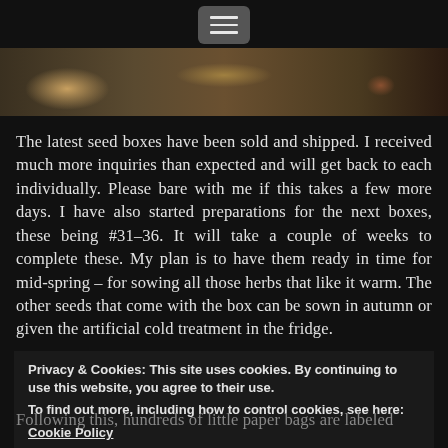[menu button]
[Figure (photo): Photo of seed packets, plant material and papers spread on a table surface]
The latest seed boxes have been sold and shipped. I received much more inquiries than expected and will get back to each individually. Please bare with me if this takes a few more days. I have also started preparations for the next boxes, these being #31-36. It will take a couple of weeks to complete these. My plan is to have them ready in time for mid-spring – for sowing all those herbs that like it warm. The other seeds that come with the box can be sown in autumn or given the artificial cold treatment in the fridge.
Privacy & Cookies: This site uses cookies. By continuing to use this website, you agree to their use.
To find out more, including how to control cookies, see here:
Cookie Policy
Close and accept
Following this, hundreds of little paper bags are labeled